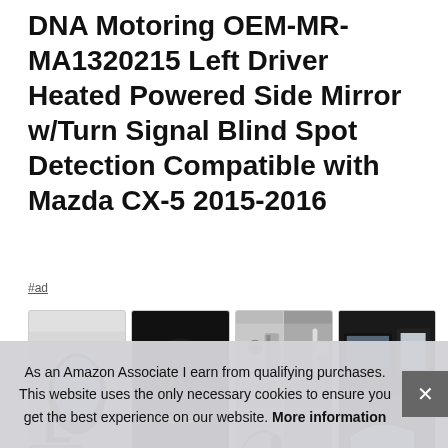DNA Motoring OEM-MR-MA1320215 Left Driver Heated Powered Side Mirror w/Turn Signal Blind Spot Detection Compatible with Mazda CX-5 2015-2016
#ad
[Figure (photo): Four product thumbnail images of the DNA Motoring side mirror: (1) front view of black side mirror, (2) top-down view of mirror showing turn signal, (3) installation hardware/components grid, (4) side/detail views of mirror]
DNA
ABS
Lasting Durability: Heated powered adjustment mirror with
As an Amazon Associate I earn from qualifying purchases. This website uses the only necessary cookies to ensure you get the best experience on our website. More information